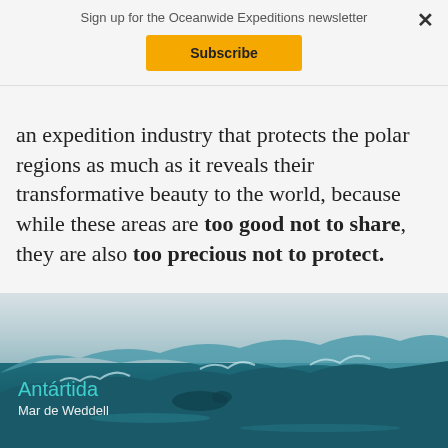Sign up for the Oceanwide Expeditions newsletter
Subscribe
an expedition industry that protects the polar regions as much as it reveals their transformative beauty to the world, because while these areas are too good not to share, they are also too precious not to protect.
[Figure (photo): Aerial or close-up photograph of Antarctic landscape with icy waters and rocky terrain in teal tones]
Antártida
Mar de Weddell